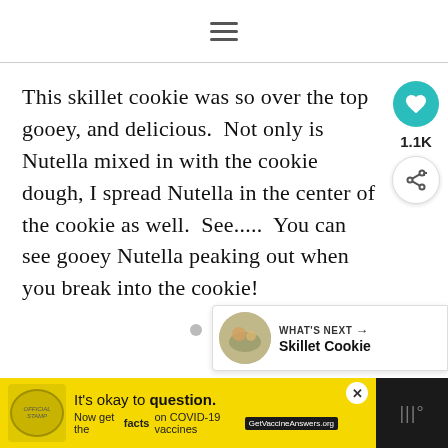hamburger menu icon
This skillet cookie was so over the top gooey, and delicious.  Not only is Nutella mixed in with the cookie dough, I spread Nutella in the center of the cookie as well.  See.....  You can see gooey Nutella peaking out when you break into the cookie!
[Figure (other): Social interaction buttons: heart/like button (teal circle with heart icon) showing 1.1K likes, and a share button below it]
[Figure (other): Pagination dots: three gray circles indicating carousel/slideshow position]
[Figure (other): What's Next panel: small circular food image thumbnail with label 'WHAT'S NEXT →' and title 'Skillet Cookie']
[Figure (other): Advertisement banner: yellow background with COVID-19 vaccine information. Text reads 'It's okay to question. Now get the facts on COVID-19 vaccines GetVaccineAnswers.org']